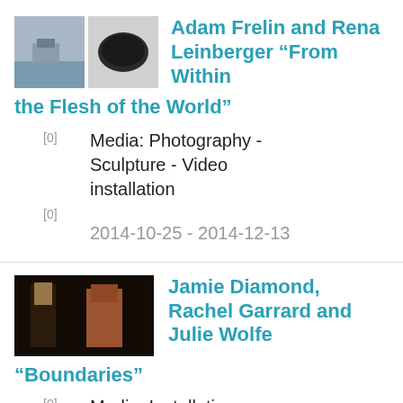[Figure (photo): Two small thumbnail images side by side: one showing a body of water with a boat, another showing a dark rounded object]
Adam Frelin and Rena Leinberger “From Within the Flesh of the World”
[0]  Media: Photography - Sculpture - Video installation
[0]  2014-10-25 - 2014-12-13
[Figure (photo): Dark thumbnail image showing two figures standing, one wearing orange/salmon colored clothing]
Jamie Diamond, Rachel Garrard and Julie Wolfe “Boundaries”
[0]  Media: Installation -